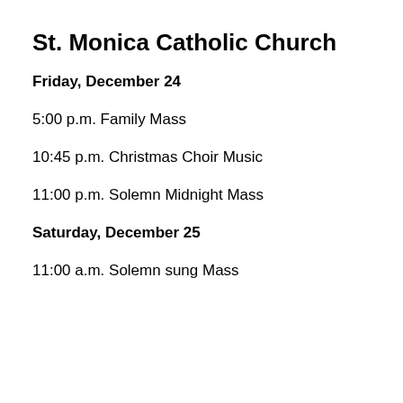St. Monica Catholic Church
Friday, December 24
5:00 p.m. Family Mass
10:45 p.m. Christmas Choir Music
11:00 p.m. Solemn Midnight Mass
Saturday, December 25
11:00 a.m. Solemn sung Mass